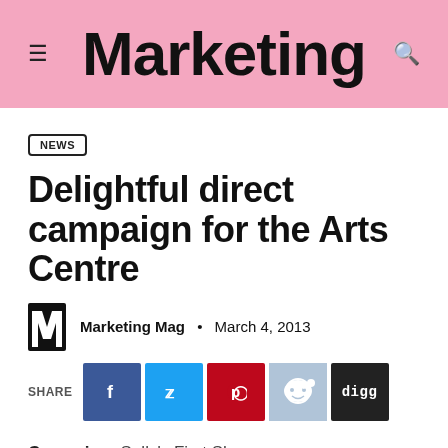Marketing
NEWS
Delightful direct campaign for the Arts Centre
Marketing Mag · March 4, 2013
[Figure (other): Social share buttons: Facebook, Twitter, Pinterest, Reddit, Digg]
Campaign: Sally's First Show
Client: Arts Centre Melbourne